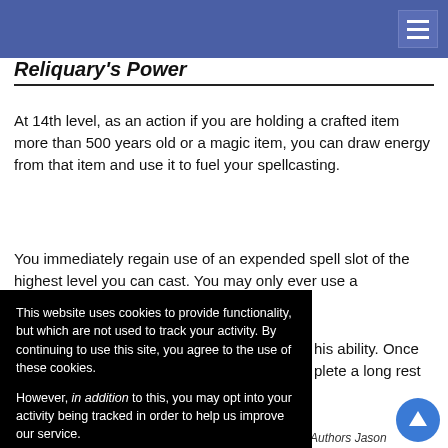Navigation bar with hamburger menu
Reliquary's Power
At 14th level, as an action if you are holding a crafted item more than 500 years old or a magic item, you can draw energy from that item and use it to fuel your spellcasting.
You immediately regain use of an expended spell slot of the highest level you can cast. You may only ever use a crafted item once per ... this ability. Once ... plete a long rest
This website uses cookies to provide functionality, but which are not used to track your activity. By continuing to use this site, you agree to the use of these cookies.

However, in addition to this, you may opt into your activity being tracked in order to help us improve our service.

For more information, please click here
Authors Jason omani" Mifsud, Matt
ll license for this